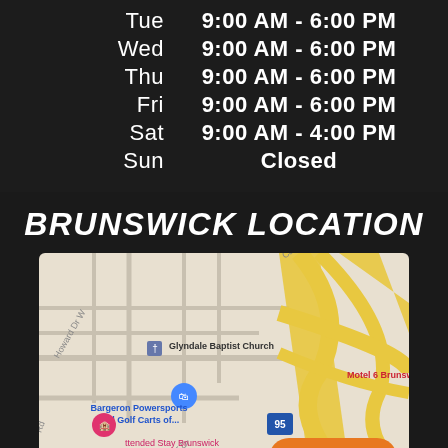| Day | Hours |
| --- | --- |
| Tue | 9:00 AM - 6:00 PM |
| Wed | 9:00 AM - 6:00 PM |
| Thu | 9:00 AM - 6:00 PM |
| Fri | 9:00 AM - 6:00 PM |
| Sat | 9:00 AM - 4:00 PM |
| Sun | Closed |
BRUNSWICK LOCATION
[Figure (map): Google Maps screenshot showing the Brunswick location area with streets including Cary St, Aubrey St, Howard Dr W, Butler Dr, and landmarks including Glyndale Baptist Church, Bargeron Powersports and Golf Carts of..., Motel 6 Brunswick, ttended Stay Brunswick, and highway I-95. An orange 'Text Us!' button appears in the bottom right.]